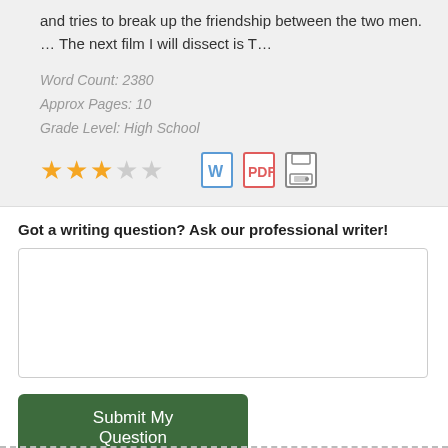and tries to break up the friendship between the two men. … The next film I will dissect is T…
Word Count: 2380
Approx Pages: 10
Grade Level: High School
[Figure (other): 3 filled gold stars and 2 empty stars rating, plus Word document icon, PDF icon, and save/floppy disk icon]
Got a writing question? Ask our professional writer!
[Text input area for question]
Submit My Question